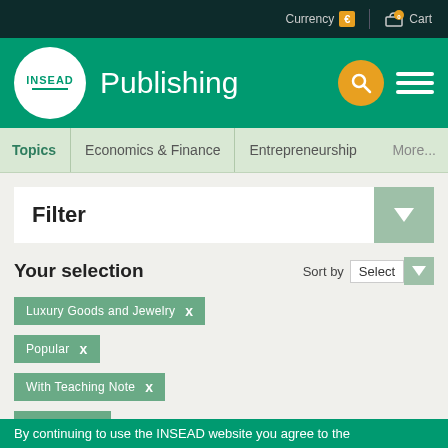Currency € | Cart
INSEAD Publishing
Topics | Economics & Finance | Entrepreneurship | More...
Filter
Your selection
Luxury Goods and Jewelry ×
Popular ×
With Teaching Note ×
Marketing × Clear all
2 cases found
By continuing to use the INSEAD website you agree to the